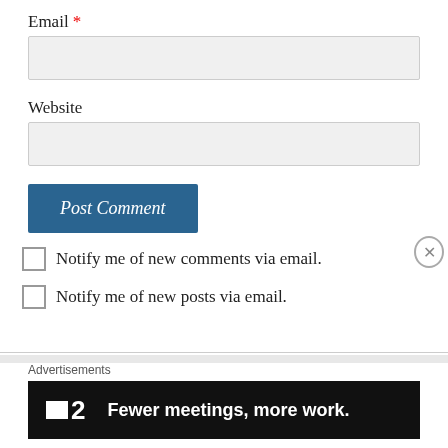Email *
Website
Post Comment
Notify me of new comments via email.
Notify me of new posts via email.
Advertisements
[Figure (infographic): Advertisement banner for F2 with tagline: Fewer meetings, more work.]